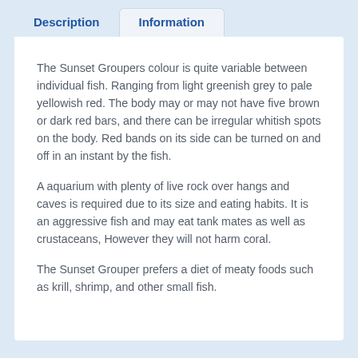Description
Information
The Sunset Groupers colour is quite variable between individual fish. Ranging from light greenish grey to pale yellowish red. The body may or may not have five brown or dark red bars, and there can be irregular whitish spots on the body. Red bands on its side can be turned on and off in an instant by the fish.
A aquarium with plenty of live rock over hangs and caves is required due to its size and eating habits. It is an aggressive fish and may eat tank mates as well as crustaceans, However they will not harm coral.
The Sunset Grouper prefers a diet of meaty foods such as krill, shrimp, and other small fish.